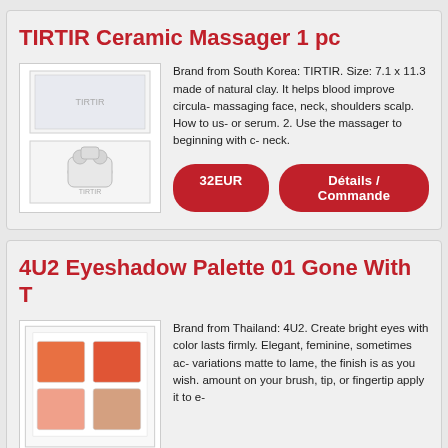TIRTIR Ceramic Massager 1 pc
[Figure (photo): Product photo of TIRTIR Ceramic Massager showing white ceramic massager tool and its box packaging]
Brand from South Korea: TIRTIR. Size: 7.1 x 11.3 made of natural clay. It helps blood improve circula- massaging face, neck, shoulders scalp. How to us- or serum. 2. Use the massager to beginning with c- neck.
32EUR
Détails / Commande
4U2 Eyeshadow Palette 01 Gone With T
[Figure (photo): Product photo of 4U2 Eyeshadow Palette 01 Gone With The Wind showing orange and coral colored eyeshadow palette]
Brand from Thailand: 4U2. Create bright eyes with color lasts firmly. Elegant, feminine, sometimes ac- variations matte to lame, the finish is as you wish. amount on your brush, tip, or fingertip apply it to e-